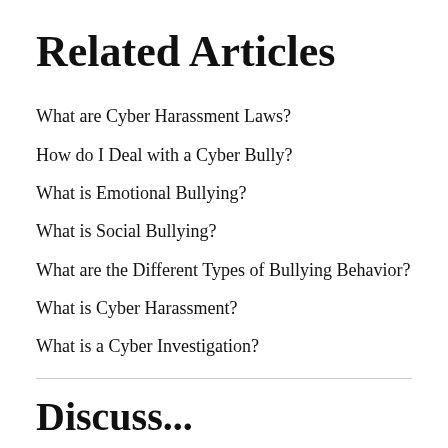Related Articles
What are Cyber Harassment Laws?
How do I Deal with a Cyber Bully?
What is Emotional Bullying?
What is Social Bullying?
What are the Different Types of Bullying Behavior?
What is Cyber Harassment?
What is a Cyber Investigation?
Discuss...